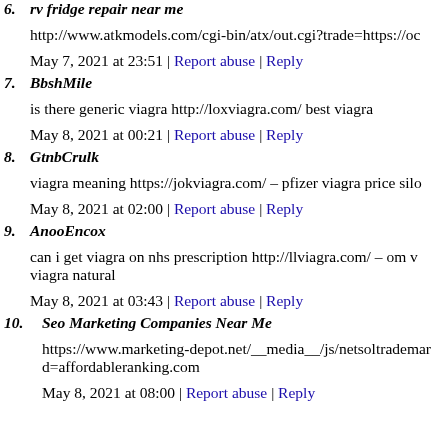6. rv fridge repair near me
http://www.atkmodels.com/cgi-bin/atx/out.cgi?trade=https://oc
May 7, 2021 at 23:51 | Report abuse | Reply
7. BbshMile
is there generic viagra http://loxviagra.com/ best viagra
May 8, 2021 at 00:21 | Report abuse | Reply
8. GtnbCrulk
viagra meaning https://jokviagra.com/ – pfizer viagra price silo
May 8, 2021 at 02:00 | Report abuse | Reply
9. AnooEncox
can i get viagra on nhs prescription http://llviagra.com/ – om v viagra natural
May 8, 2021 at 03:43 | Report abuse | Reply
10. Seo Marketing Companies Near Me
https://www.marketing-depot.net/__media__/js/netsoltrademar d=affordableranking.com
May 8, 2021 at 08:00 | Report abuse | Reply